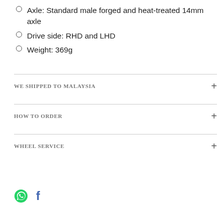Axle: Standard male forged and heat-treated 14mm axle
Drive side: RHD and LHD
Weight: 369g
We shipped to Malaysia
How to order
Wheel Service